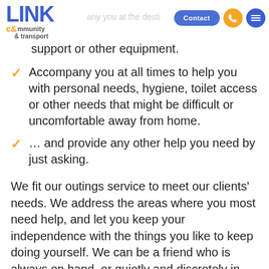LINK community & transport — Contact
… access to your medication, breathing support or other equipment.
Accompany you at all times to help you with personal needs, hygiene, toilet access or other needs that might be difficult or uncomfortable away from home.
…  and provide any other help you need by just asking.
We fit our outings service to meet our clients' needs. We address the areas where you most need help, and let you keep your independence with the things you like to keep doing yourself. We can be a friend who is always on hand, or quietly and discretely in the background.